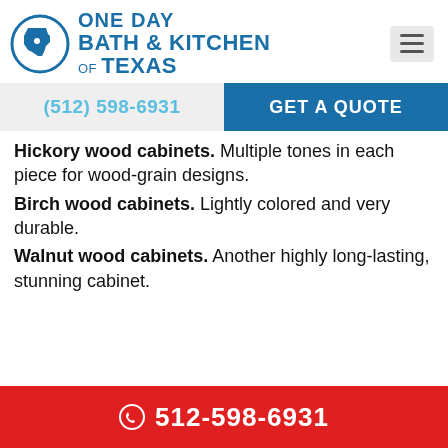[Figure (logo): One Day Bath & Kitchen of Texas logo with Texas state outline in a circle]
(512) 598-6931
GET A QUOTE
Hickory wood cabinets. Multiple tones in each piece for wood-grain designs.
Birch wood cabinets. Lightly colored and very durable.
Walnut wood cabinets. Another highly long-lasting, stunning cabinet.
512-598-6931